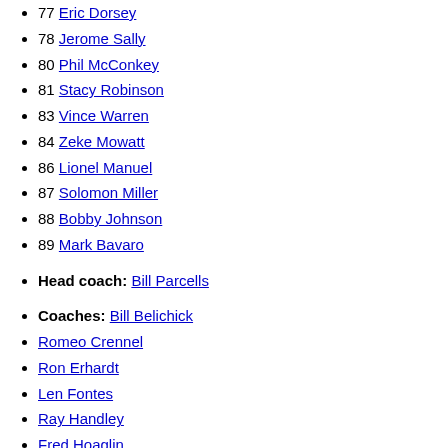77 Eric Dorsey
78 Jerome Sally
80 Phil McConkey
81 Stacy Robinson
83 Vince Warren
84 Zeke Mowatt
86 Lionel Manuel
87 Solomon Miller
88 Bobby Johnson
89 Mark Bavaro
Head coach: Bill Parcells
Coaches: Bill Belichick
Romeo Crennel
Ron Erhardt
Len Fontes
Ray Handley
Fred Hoaglin
Pat Hodgson
Lamar Leachman
Johnny Parker
Mike Pope
Mike Sweatman
Personnel: Ronnie Barnes